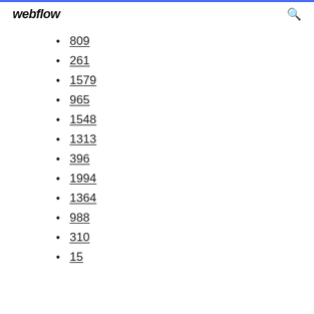webflow
809
261
1579
965
1548
1313
396
1994
1364
988
310
15